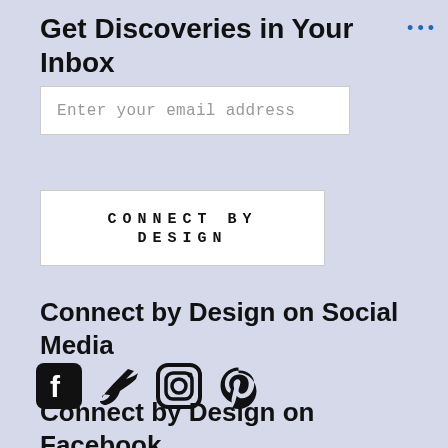Get Discoveries in Your Inbox
Enter your email address
CONNECT BY DESIGN
Connect by Design on Social Media
[Figure (other): Social media icons: Facebook, Twitter, Instagram, Pinterest]
Connect by Design on Facebook